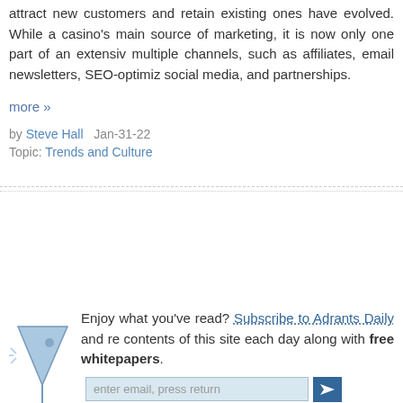attract new customers and retain existing ones have evolved. While a casino's main source of marketing, it is now only one part of an extensive multiple channels, such as affiliates, email newsletters, SEO-optimiza social media, and partnerships.
more »
by Steve Hall   Jan-31-22
Topic: Trends and Culture
Enjoy what you've read? Subscribe to Adrants Daily and re contents of this site each day along with free whitepapers.
Understanding the Importance of Real-Tim Management System